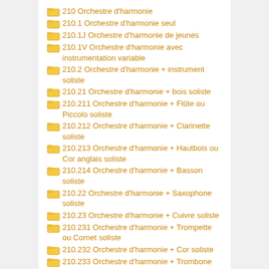210 Orchestre d'harmonie
210.1 Orchestre d'harmonie seul
210.1J Orchestre d'harmonie de jeunes
210.1V Orchestre d'harmonie avec instrumentation variable
210.2 Orchestre d'harmonie + instrument soliste
210.21 Orchestre d'harmonie + bois soliste
210.211 Orchestre d'harmonie + Flûte ou Piccolo soliste
210.212 Orchestre d'harmonie + Clarinette soliste
210.213 Orchestre d'harmonie + Hautbois ou Cor anglais soliste
210.214 Orchestre d'harmonie + Basson soliste
210.22 Orchestre d'harmonie + Saxophone soliste
210.23 Orchestre d'harmonie + Cuivre soliste
210.231 Orchestre d'harmonie + Trompette ou Cornet soliste
210.232 Orchestre d'harmonie + Cor soliste
210.233 Orchestre d'harmonie + Trombone soliste
210.234 Orchestre d'harmonie + Tuba ou…